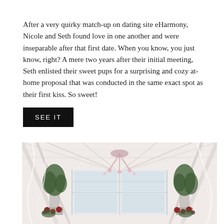After a very quirky match-up on dating site eHarmony, Nicole and Seth found love in one another and were inseparable after that first date. When you know, you just know, right? A mere two years after their initial meeting, Seth enlisted their sweet pups for a surprising and cozy at-home proposal that was conducted in the same exact spot as their first kiss. So sweet!
SEE IT
[Figure (photo): Interior of a bright greenhouse or conservatory decorated with white draping, tall potted green trees, hanging floral chandeliers with pink branches, and red/pink flower arrangements on white pedestals. Large glass windows visible in the background.]